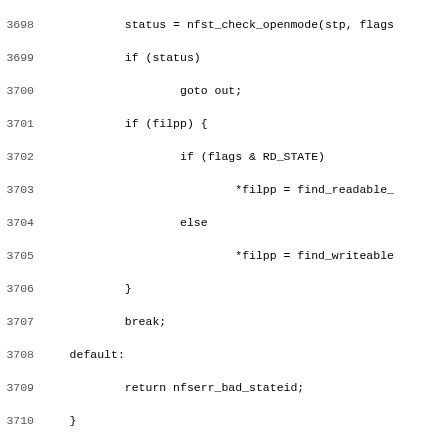Source code listing, lines 3698–3730, showing C kernel code for NFS state management including nfsd4_free_lock_stateid and nfsd4_test_stateid functions.